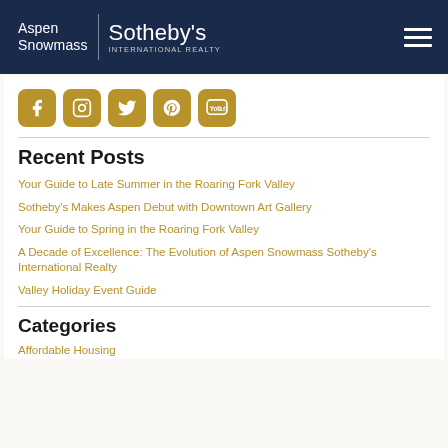Aspen Snowmass | Sotheby's INTERNATIONAL REALTY
[Figure (infographic): Social media icons row: Facebook, Instagram, Twitter, Pinterest, YouTube — all in golden/tan color]
Recent Posts
Your Guide to Late Summer in the Roaring Fork Valley
Sotheby's Makes Aspen Debut with Downtown Art Gallery
Your Guide to Spring in the Roaring Fork Valley
A Decade of Excellence: The Evolution of Aspen Snowmass Sotheby's International Realty
Valley Holiday Event Guide
Categories
Affordable Housing